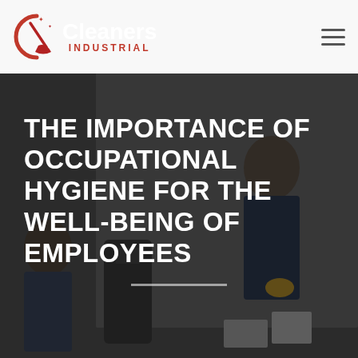[Figure (photo): Background photo showing cleaning workers in an industrial/office setting, with dark overlay]
Cleaners INDUSTRIAL
THE IMPORTANCE OF OCCUPATIONAL HYGIENE FOR THE WELL-BEING OF EMPLOYEES